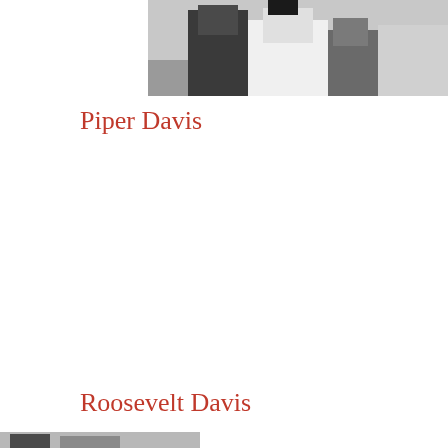[Figure (photo): Black and white photograph showing people, partially cropped at top of page]
Piper Davis
Roosevelt Davis
[Figure (photo): Black and white photograph, partially visible at bottom of page]